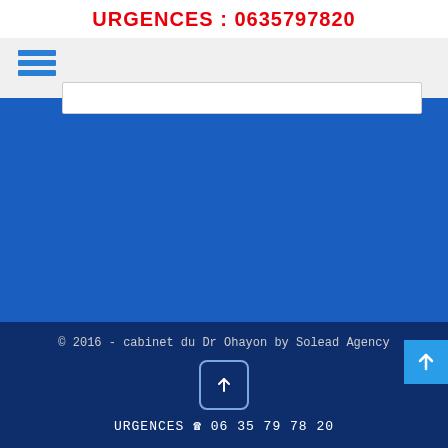URGENCES : 0635797820
[Figure (screenshot): Hamburger menu icon (three horizontal blue bars) and white search/input box on a light grey navigation bar]
[Figure (screenshot): Large solid blue background section (website hero area), no visible text]
© 2016 - cabinet du Dr Ohayon by Solead Agency
URGENCES ☎ 06 35 79 78 20